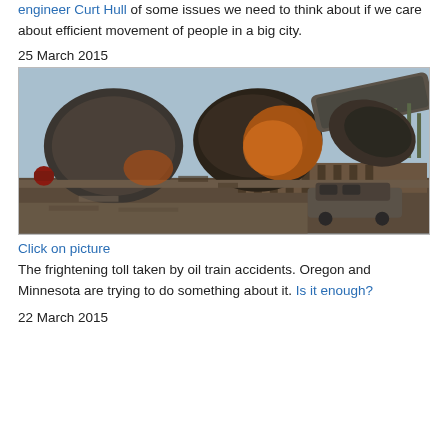engineer Curt Hull of some issues we need to think about if we care about efficient movement of people in a big city.
25 March 2015
[Figure (photo): Derailed and burned oil train tanker cars piled up on top of each other amid debris and a burned-out vehicle, aftermath of a train accident.]
Click on picture
The frightening toll taken by oil train accidents. Oregon and Minnesota are trying to do something about it. Is it enough?
22 March 2015